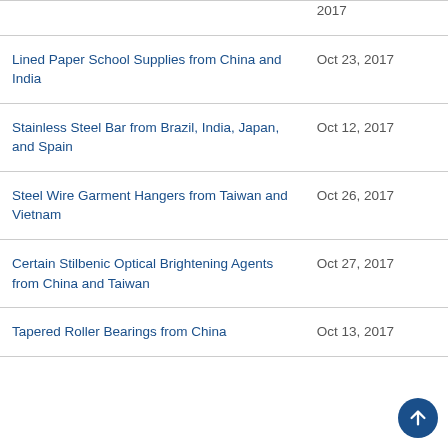| Case | Date |
| --- | --- |
| (partial top row) | 2017 |
| Lined Paper School Supplies from China and India | Oct 23, 2017 |
| Stainless Steel Bar from Brazil, India, Japan, and Spain | Oct 12, 2017 |
| Steel Wire Garment Hangers from Taiwan and Vietnam | Oct 26, 2017 |
| Certain Stilbenic Optical Brightening Agents from China and Taiwan | Oct 27, 2017 |
| Tapered Roller Bearings from China | Oct 13, 2017 |